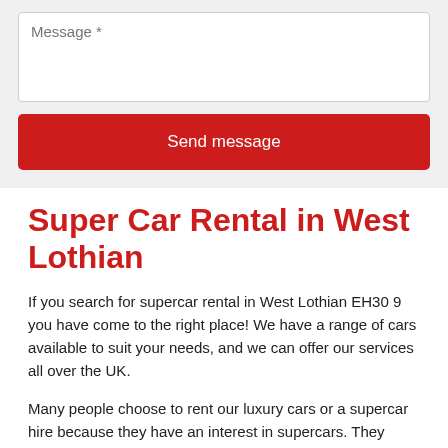[Figure (screenshot): A web form section with a message textarea input field labeled 'Message *' and a red 'Send message' button below it, on a light gray background.]
Super Car Rental in West Lothian
If you search for supercar rental in West Lothian EH30 9 you have come to the right place! We have a range of cars available to suit your needs, and we can offer our services all over the UK.
Many people choose to rent our luxury cars or a supercar hire because they have an interest in supercars. They would love to experience driving one or using them for an event. To inquire, fill in the contact form below, and we will receive your enquiry about the luxury car hire and get back to you quickly or feel free to give us a call on -.